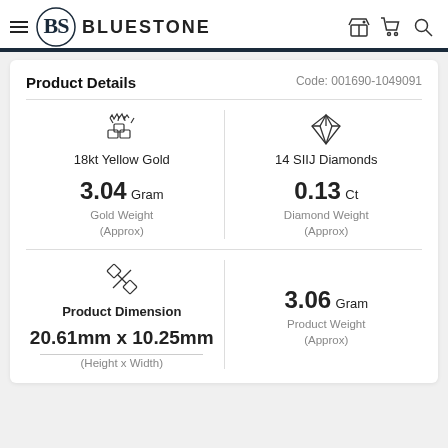BLUESTONE
Product Details
Code: 001690-1049091
18kt Yellow Gold
3.04 Gram
Gold Weight (Approx)
14 SIIJ Diamonds
0.13 Ct
Diamond Weight (Approx)
Product Dimension
20.61mm x 10.25mm
(Height x Width)
3.06 Gram
Product Weight (Approx)